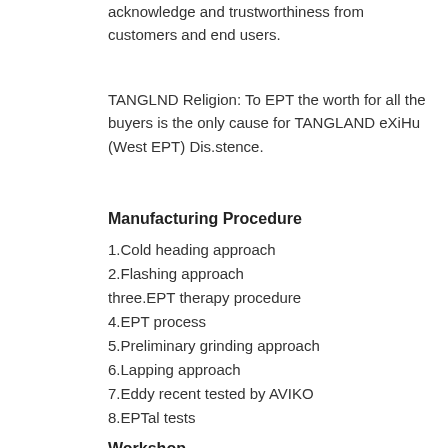acknowledge and trustworthiness from customers and end users.
TANGLND Religion: To EPT the worth for all the buyers is the only cause for TANGLAND eXiHu (West EPT) Dis.stence.
Manufacturing Procedure
1.Cold heading approach
2.Flashing approach
three.EPT therapy procedure
4.EPT process
5.Preliminary grinding approach
6.Lapping approach
7.Eddy recent tested by AVIKO
8.EPTal tests
Workshop
Incoming EPT